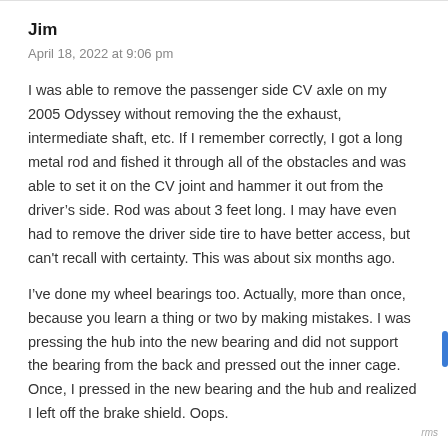Jim
April 18, 2022 at 9:06 pm
I was able to remove the passenger side CV axle on my 2005 Odyssey without removing the the exhaust, intermediate shaft, etc. If I remember correctly, I got a long metal rod and fished it through all of the obstacles and was able to set it on the CV joint and hammer it out from the driver’s side. Rod was about 3 feet long. I may have even had to remove the driver side tire to have better access, but can't recall with certainty. This was about six months ago.
I’ve done my wheel bearings too. Actually, more than once, because you learn a thing or two by making mistakes. I was pressing the hub into the new bearing and did not support the bearing from the back and pressed out the inner cage. Once, I pressed in the new bearing and the hub and realized I left off the brake shield. Oops.